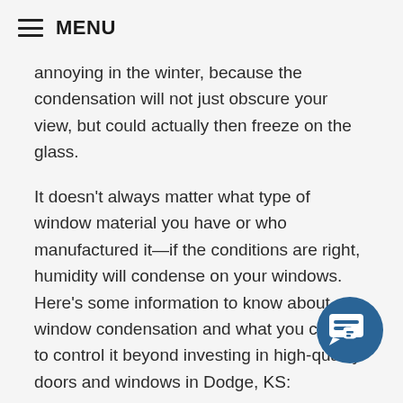MENU
annoying in the winter, because the condensation will not just obscure your view, but could actually then freeze on the glass.
It doesn't always matter what type of window material you have or who manufactured it—if the conditions are right, humidity will condense on your windows. Here's some information to know about window condensation and what you can do to control it beyond investing in high-quality doors and windows in Dodge, KS:
Drapes and shades: Drapes and other